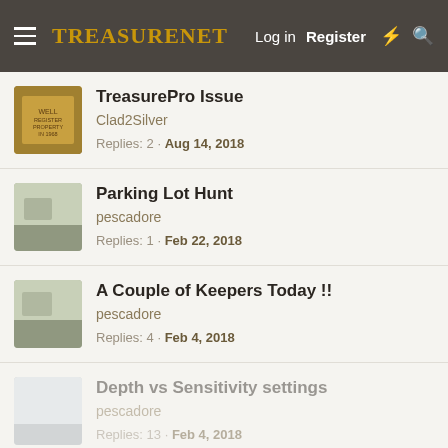TreasureNet  Log in  Register
TreasurePro Issue
Clad2Silver
Replies: 2 · Aug 14, 2018
Parking Lot Hunt
pescadore
Replies: 1 · Feb 22, 2018
A Couple of Keepers Today !!
pescadore
Replies: 4 · Feb 4, 2018
Depth vs Sensitivity settings
pescadore
Replies: 13 · Feb 4, 2018